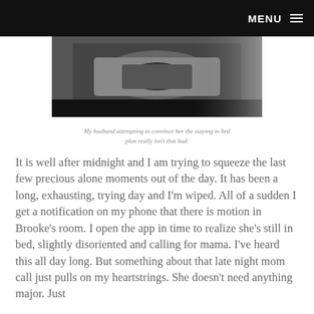MENU
[Figure (photo): Black and white photo of a person leaning over a bed, apparently trying to convince someone to stay in bed.]
My husband attempting to convince her the staying in bed plan really isn't that bad.
It is well after midnight and I am trying to squeeze the last few precious alone moments out of the day. It has been a long, exhausting, trying day and I'm wiped. All of a sudden I get a notification on my phone that there is motion in Brooke's room. I open the app in time to realize she's still in bed, slightly disoriented and calling for mama. I've heard this all day long. But something about that late night mom call just pulls on my heartstrings. She doesn't need anything major. Just